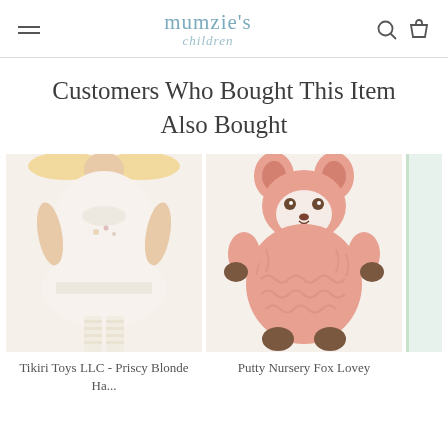mumzie's children
Customers Who Bought This Item Also Bought
[Figure (photo): Tikiri Toys LLC - Priscy Blonde Ha... doll in a white dress with striped legs]
Tikiri Toys LLC - Priscy Blonde Ha...
[Figure (photo): Putty Nursery Fox Lovey pink stuffed fox toy]
Putty Nursery Fox Lovey